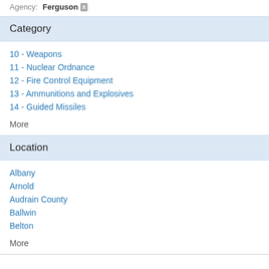Agency: Ferguson ×
Category
10 - Weapons
11 - Nuclear Ordnance
12 - Fire Control Equipment
13 - Ammunitions and Explosives
14 - Guided Missiles
More
Location
Albany
Arnold
Audrain County
Ballwin
Belton
More